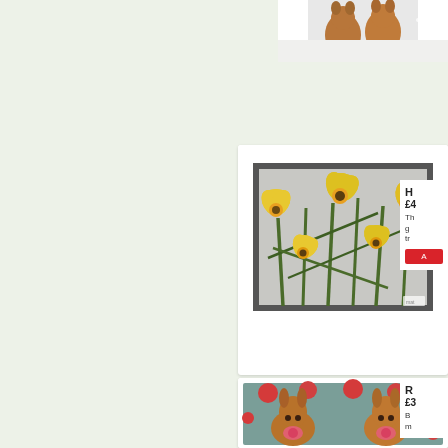[Figure (photo): Partial top image of a product (appears to be an animal/reindeer in snow), cropped at top of page]
[Figure (photo): Daffodil doormat with yellow daffodil flowers on grey background with dark border, displayed on white product card]
H
£4

Th g tr
[Figure (photo): Rudolph/reindeer faces with red noses on teal background with red polka dots doormat, shown in lower product card]
R
£3

B m